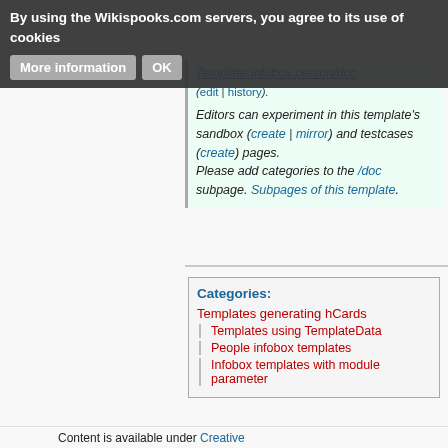By using the Wikispooks.com servers, you agree to its use of cookies   More information   OK
Template:Infobox person/doc (edit | history). Editors can experiment in this template's sandbox (create | mirror) and testcases (create) pages. Please add categories to the /doc subpage. Subpages of this template.
Categories: Templates generating hCards; Templates using TemplateData; People infobox templates; Infobox templates with module parameter
Content is available under Creative